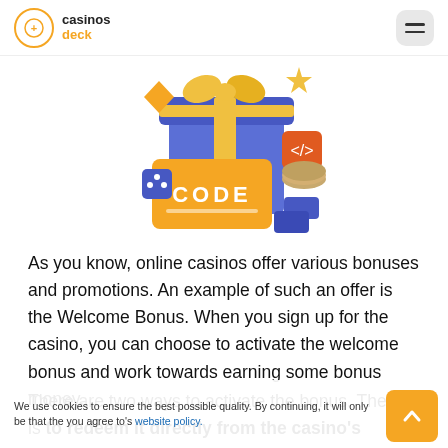casinos deck
[Figure (illustration): Colorful 3D illustration showing a gift box with a ribbon, an orange card with 'CODE' written on it, casino chips, dice, and a code bracket icon — representing casino bonus codes.]
As you know, online casinos offer various bonuses and promotions. An example of such an offer is the Welcome Bonus. When you sign up for the casino, you can choose to activate the welcome bonus and work towards earning some bonus money.
There are two ways to activate the bonus. The first is to redeem it directly from the casino's website while logged in. The bonus will be automatically attached to your
We use cookies to ensure the best possible quality. By continuing, it will only be that the you agree to's website policy.